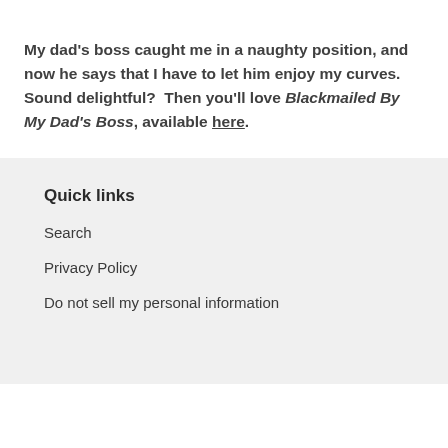My dad's boss caught me in a naughty position, and now he says that I have to let him enjoy my curves.  Sound delightful?  Then you'll love Blackmailed By My Dad's Boss, available here.
Quick links
Search
Privacy Policy
Do not sell my personal information